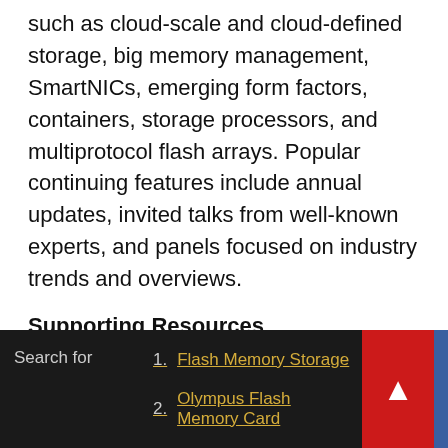such as cloud-scale and cloud-defined storage, big memory management, SmartNICs, emerging form factors, containers, storage processors, and multiprotocol flash arrays. Popular continuing features include annual updates, invited talks from well-known experts, and panels focused on industry trends and overviews.
Supporting Resources
Visit FMS: FlashMemorySummit.com
Follow FMS on LinkedIn.com/groups/4129499
Follow FMS on Twitter.com/FlashMem
Follow FMS on Facebook.com/FlashMemorySummit
Search for  1. Flash Memory Storage  2. Olympus Flash Memory Card